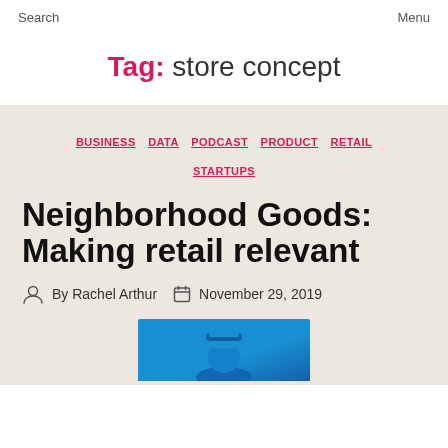Search    Menu
Tag: store concept
BUSINESS  DATA  PODCAST  PRODUCT  RETAIL  STARTUPS
Neighborhood Goods: Making retail relevant
By Rachel Arthur   November 29, 2019
[Figure (photo): A person wearing a blue hat, partial image visible at bottom of page]